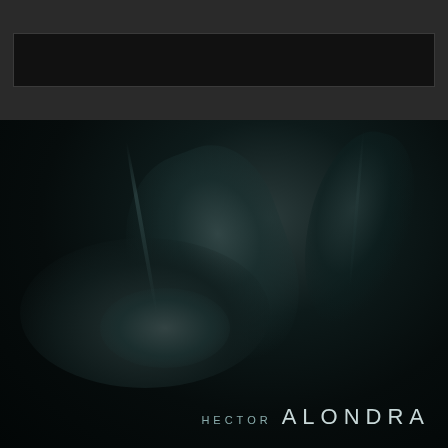[Figure (photo): Dark monochromatic photo of curved leather or body forms with soft teal/dark teal highlights against a near-black background]
HECTOR ALONDRA